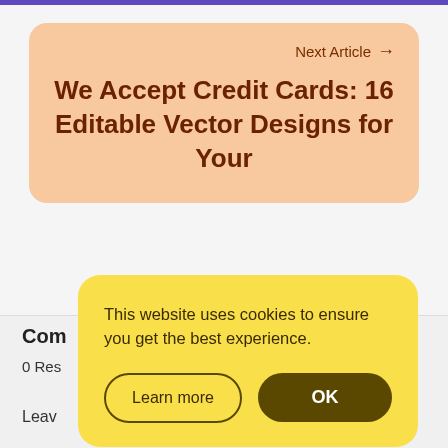Next Article →
We Accept Credit Cards: 16 Editable Vector Designs for Your
Comments
0 Responses
Leave
This website uses cookies to ensure you get the best experience.
Learn more
OK